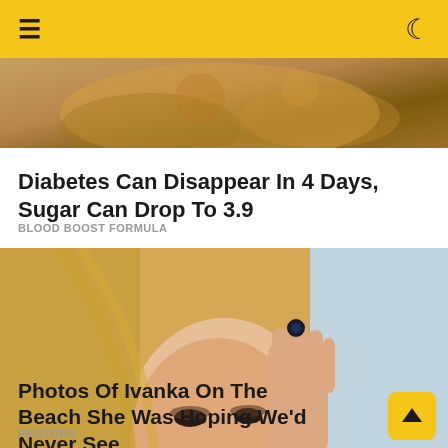Navigation bar with hamburger menu and moon/dark mode icon
[Figure (photo): Partial top of advertisement image showing food/nature background]
Diabetes Can Disappear In 4 Days, Sugar Can Drop To 3.9
BLOOD BOOST FORMULA
[Figure (photo): Photo of a blonde woman with hand raised to forehead, wearing dark earrings and a ring, looking downward against a light blue background]
Photos Of Ivanka On The Beach She Was Hoping We'd Never See
PROZORO